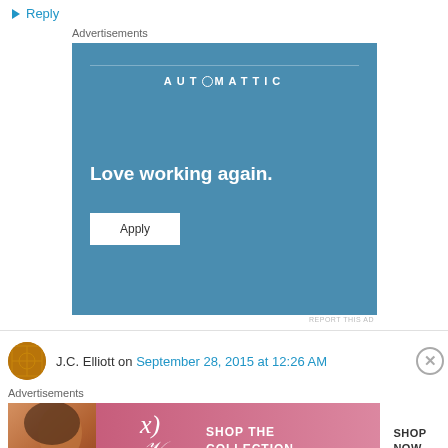Reply
Advertisements
[Figure (illustration): Automattic advertisement with blue background, company logo at top, tagline 'Love working again.' and an Apply button]
REPORT THIS AD
J.C. Elliott on September 28, 2015 at 12:26 AM
Advertisements
[Figure (illustration): Victoria's Secret advertisement with pink background, model photo, 'SHOP THE COLLECTION' text and 'SHOP NOW' button]
REPORT THIS AD